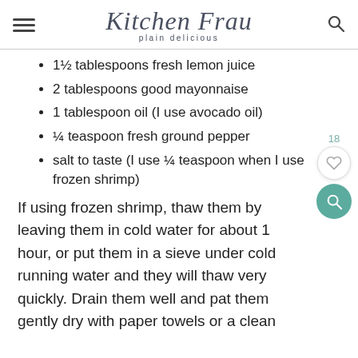Kitchen Frau — plain delicious
1½ tablespoons fresh lemon juice
2 tablespoons good mayonnaise
1 tablespoon oil (I use avocado oil)
¼ teaspoon fresh ground pepper
salt to taste (I use ¼ teaspoon when I use frozen shrimp)
If using frozen shrimp, thaw them by leaving them in cold water for about 1 hour, or put them in a sieve under cold running water and they will thaw very quickly. Drain them well and pat them gently dry with paper towels or a clean